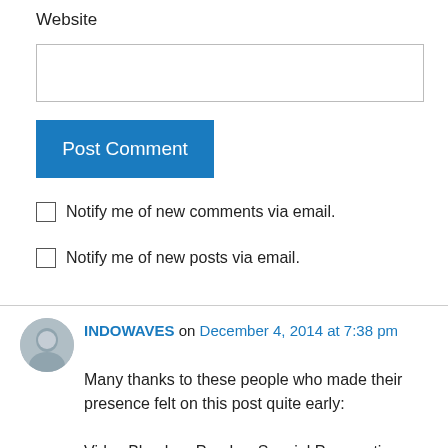Website
[Figure (screenshot): Empty text input box for website URL]
[Figure (screenshot): Blue 'Post Comment' button]
Notify me of new comments via email.
Notify me of new posts via email.
INDOWAVES on December 4, 2014 at 7:38 pm
Many thanks to these people who made their presence felt on this post quite early:

Vidya Bhushan Pandey, Special Prosecution Officer, Allahabad, Uttar Pradesh; Mayank, Mayank Uttar Pradesh; Mayank Ki...